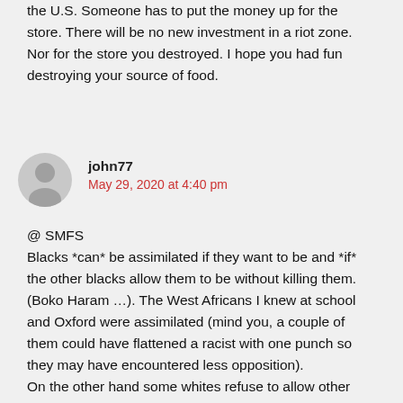the U.S. Someone has to put the money up for the store. There will be no new investment in a riot zone. Nor for the store you destroyed. I hope you had fun destroying your source of food.
john77
May 29, 2020 at 4:40 pm
@ SMFS
Blacks *can* be assimilated if they want to be and *if* the other blacks allow them to be without killing them. (Boko Haram …). The West Africans I knew at school and Oxford were assimilated (mind you, a couple of them could have flattened a racist with one punch so they may have encountered less opposition).
On the other hand some whites refuse to allow other whites to be assimilated: when I moved to a converted attic in London in 1971 the guy who acted as elder brother to all the other flats and had bitten in the house was a Northern Irish Catholic...